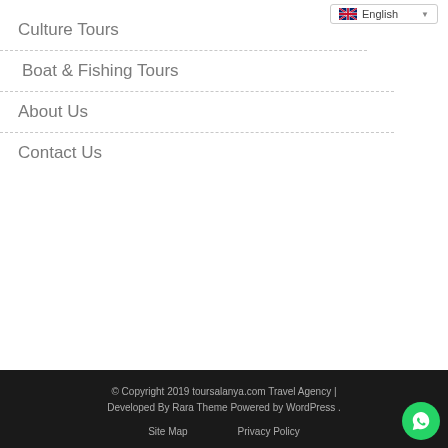[Figure (screenshot): Language selector dropdown showing English with UK flag]
Culture Tours
Boat & Fishing Tours
About Us
Contact Us
© Copyright 2019 toursalanya.com Travel Agency | Developed By Rara Theme Powered by WordPress . Privacy Policy Site Map